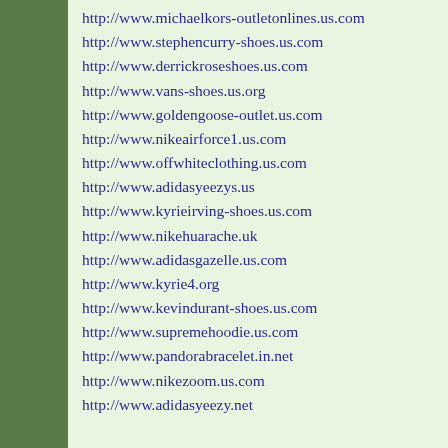http://www.michaelkors-outletonlines.us.com
http://www.stephencurry-shoes.us.com
http://www.derrickroseshoes.us.com
http://www.vans-shoes.us.org
http://www.goldengoose-outlet.us.com
http://www.nikeairforce1.us.com
http://www.offwhiteclothing.us.com
http://www.adidasyeezys.us
http://www.kyrieirving-shoes.us.com
http://www.nikehuarache.uk
http://www.adidasgazelle.us.com
http://www.kyrie4.org
http://www.kevindurant-shoes.us.com
http://www.supremehoodie.us.com
http://www.pandorabracelet.in.net
http://www.nikezoom.us.com
http://www.adidasyeezy.net